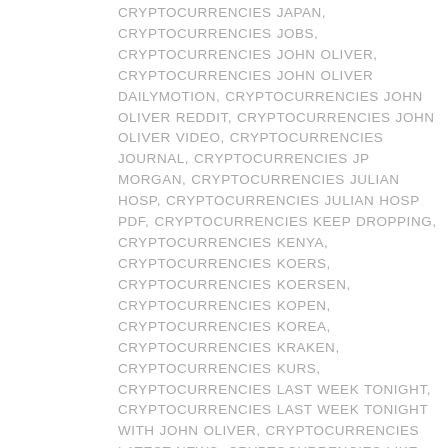CRYPTOCURRENCIES IRS, CRYPTOCURRENCIES JAPAN, CRYPTOCURRENCIES JOBS, CRYPTOCURRENCIES JOHN OLIVER, CRYPTOCURRENCIES JOHN OLIVER DAILYMOTION, CRYPTOCURRENCIES JOHN OLIVER REDDIT, CRYPTOCURRENCIES JOHN OLIVER VIDEO, CRYPTOCURRENCIES JOURNAL, CRYPTOCURRENCIES JP MORGAN, CRYPTOCURRENCIES JULIAN HOSP, CRYPTOCURRENCIES JULIAN HOSP PDF, CRYPTOCURRENCIES KEEP DROPPING, CRYPTOCURRENCIES KENYA, CRYPTOCURRENCIES KOERS, CRYPTOCURRENCIES KOERSEN, CRYPTOCURRENCIES KOPEN, CRYPTOCURRENCIES KOREA, CRYPTOCURRENCIES KRAKEN, CRYPTOCURRENCIES KURS, CRYPTOCURRENCIES LAST WEEK TONIGHT, CRYPTOCURRENCIES LAST WEEK TONIGHT WITH JOHN OLIVER, CRYPTOCURRENCIES LATEST NEWS, CRYPTOCURRENCIES LIKE BITCOIN, CRYPTOCURRENCIES LIKE ETHEREUM, CRYPTOCURRENCIES LIST, CRYPTOCURRENCIES LISTED ON BINANCE, CRYPTOCURRENCIES LIVE, CRYPTOCURRENCIES LIVE PRICE, CRYPTOCURRENCIES LOGOS, CRYPTOCURRENCIES MARCH 2018, CRYPTOCURRENCIES MARKET, CRYPTOCURRENCIES MARKET